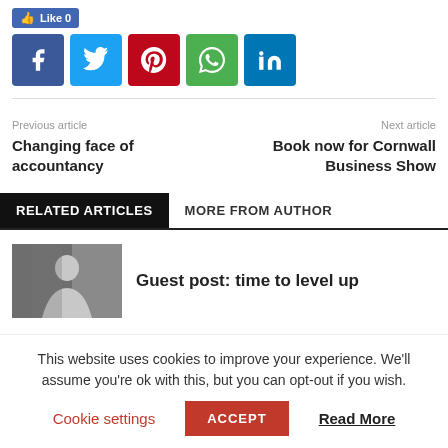[Figure (other): Like button showing Like 0 and social share icons: Facebook, Twitter, Pinterest, WhatsApp, LinkedIn]
Previous article
Changing face of accountancy
Next article
Book now for Cornwall Business Show
RELATED ARTICLES  MORE FROM AUTHOR
[Figure (photo): Photo of a bald man in a suit standing against a stone wall]
Guest post: time to level up
This website uses cookies to improve your experience. We'll assume you're ok with this, but you can opt-out if you wish.
Cookie settings  ACCEPT  Read More